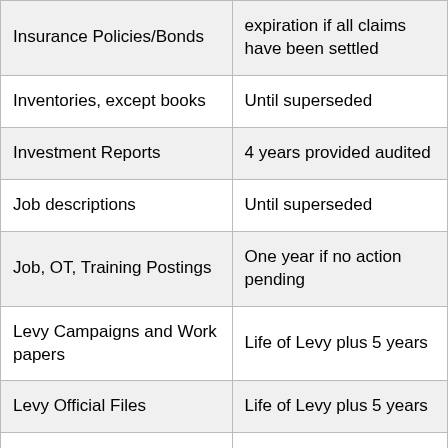| Record Type | Retention Period |
| --- | --- |
| Insurance Policies/Bonds | expiration if all claims have been settled |
| Inventories, except books | Until superseded |
| Investment Reports | 4 years provided audited |
| Job descriptions | Until superseded |
| Job, OT, Training Postings | One year if no action pending |
| Levy Campaigns and Work papers | Life of Levy plus 5 years |
| Levy Official Files | Life of Levy plus 5 years |
| Lost Books/Fine Records | Once paid removed |